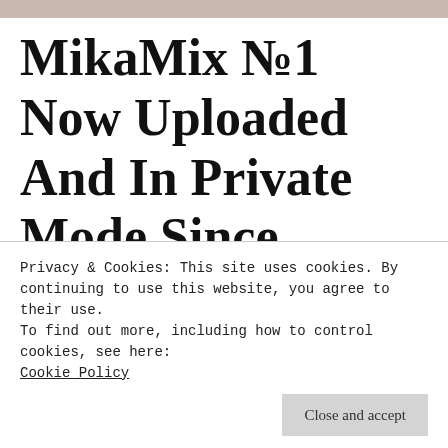[Figure (photo): Top strip showing partial image with pinkish/beige background]
MikaMix №1 Now Uploaded And In Private Mode Since 1430HRS Sharp | #MikaMix #MikaTheAngel
Privacy & Cookies: This site uses cookies. By continuing to use this website, you agree to their use.
To find out more, including how to control cookies, see here:
Cookie Policy